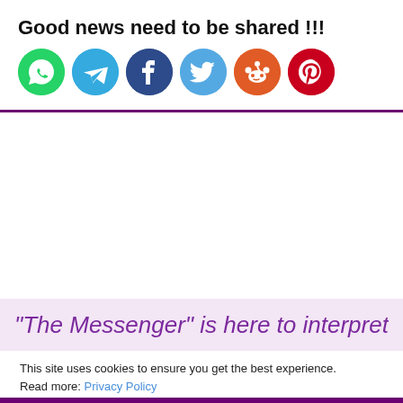Good news need to be shared !!!
[Figure (illustration): Row of social media icon circles: WhatsApp (green), Telegram (blue), Facebook (dark blue), Twitter (light blue), Reddit (orange), Pinterest (red)]
"The Messenger" is here to interpret your
This site uses cookies to ensure you get the best experience. Read more: Privacy Policy
OK